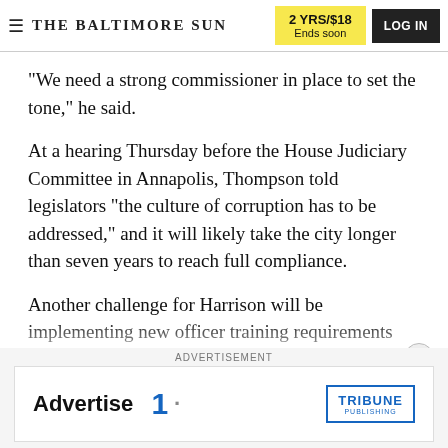THE BALTIMORE SUN | 2 YRS/$18 Ends soon | LOG IN
“We need a strong commissioner in place to set the tone,” he said.
At a hearing Thursday before the House Judiciary Committee in Annapolis, Thompson told legislators “the culture of corruption has to be addressed,” and it will likely take the city longer than seven years to reach full compliance.
Another challenge for Harrison will be implementing new officer training requirements after the recent retirement of the head of the training academy. Major
ADVERTISEMENT
[Figure (screenshot): Advertisement banner with 'Advertise 1' text and Tribune Publishing logo]